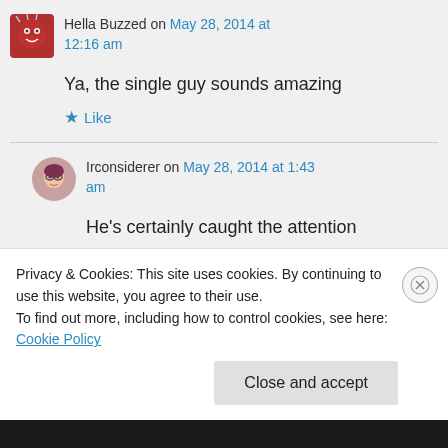Hella Buzzed on May 28, 2014 at 12:16 am
Ya, the single guy sounds amazing
Like
Irconsiderer on May 28, 2014 at 1:43 am
He's certainly caught the attention
Privacy & Cookies: This site uses cookies. By continuing to use this website, you agree to their use.
To find out more, including how to control cookies, see here: Cookie Policy
Close and accept